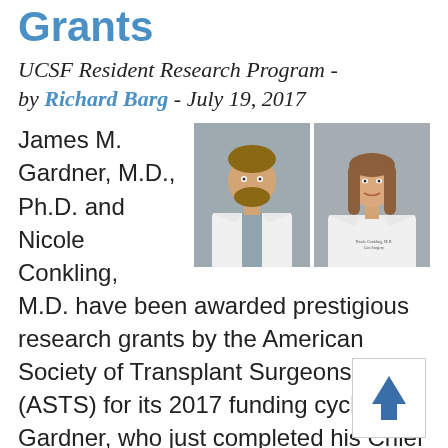Grants
UCSF Resident Research Program - by Richard Barg - July 19, 2017
[Figure (photo): Two portrait photos: James M. Gardner M.D. Ph.D. (male, white coat) and Nicole Conkling M.D. (female, white coat)]
James M. Gardner, M.D., Ph.D. and Nicole Conkling, M.D. have been awarded prestigious research grants by the American Society of Transplant Surgeons (ASTS) for its 2017 funding cycle. Dr. Gardner, who just completed his Chief Residency in General Surgery